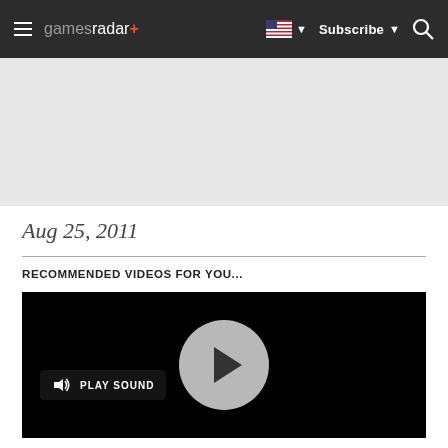gamesradar+ | Subscribe | Search
[Figure (other): Advertisement / gray placeholder area]
Aug 25, 2011
RECOMMENDED VIDEOS FOR YOU...
[Figure (screenshot): Video player with black background, a play button circle in center, and a 'PLAY SOUND' button in the bottom-left corner]